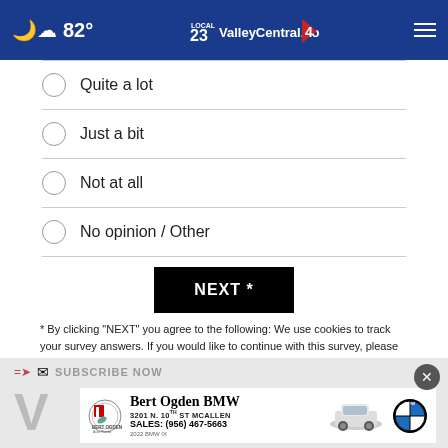82° ValleyCentral.com Local 23 / 4
Quite a lot
Just a bit
Not at all
No opinion / Other
NEXT *
* By clicking "NEXT" you agree to the following: We use cookies to track your survey answers. If you would like to continue with this survey, please read and agree to the CivicScience Privacy Policy and Terms of Service
[Figure (other): Subscribe Now email banner and Bert Ogden BMW advertisement with car image and BMW roundel logo. Address: 3201 N. 10th St McAllen. Sales: (956) 467-5663. 2022 BMW IX.]